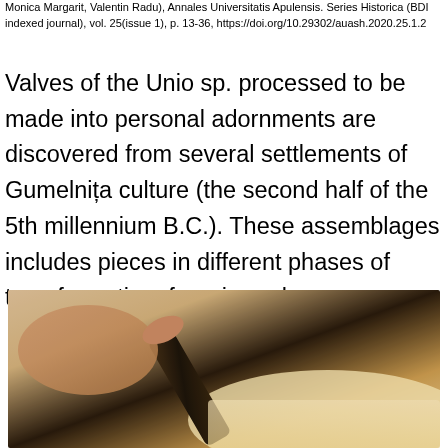Monica Margarit, Valentin Radu), Annales Universitatis Apulensis. Series Historica (BDI indexed journal), vol. 25(issue 1), p. 13-36, https://doi.org/10.29302/auash.2020.25.1.2
Valves of the Unio sp. processed to be made into personal adornments are discovered from several settlements of Gumelnița culture (the second half of the 5th millennium B.C.). These assemblages includes pieces in different phases of transformation, from irregular…
[Figure (photo): Close-up photograph of hands, one holding what appears to be a dark tool or instrument, touching or working on a light-colored surface, with warm brownish tones and blurred background]